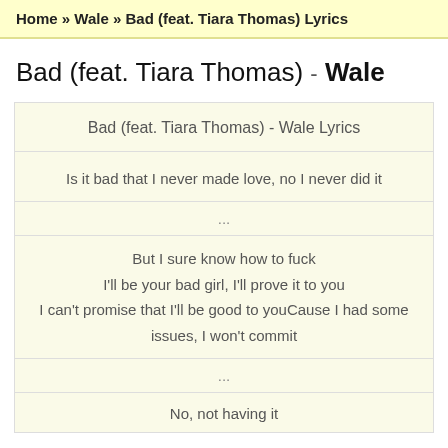Home » Wale » Bad (feat. Tiara Thomas) Lyrics
Bad (feat. Tiara Thomas) - Wale
Bad (feat. Tiara Thomas) - Wale Lyrics
Is it bad that I never made love, no I never did it
...
But I sure know how to fuck
I'll be your bad girl, I'll prove it to you
I can't promise that I'll be good to youCause I had some issues, I won't commit
...
No, not having it